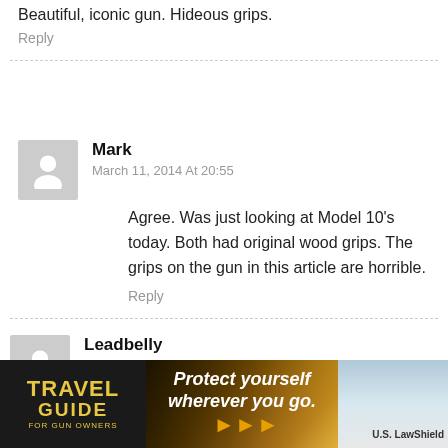Beautiful, iconic gun. Hideous grips.
Reply
Mark
March 11, 2014 At 20:55
Agree. Was just looking at Model 10's today. Both had original wood grips. The grips on the gun in this article are horrible.
Reply
Leadbelly
September 26, 2013 At 12:24
The first handgun I ever fired was my uncle Ralph's model 10. I've been in love with S&W revolvers ever since. At one time or another I've owned a model 17, a model 14, a model 19, a 1917,
a 442.
[Figure (illustration): Travel Guide for Gun Owners advertisement banner showing logo and 'Protect yourself wherever you go.' text with arrows and US LawShield branding]